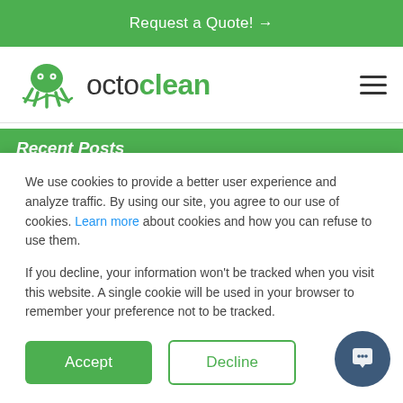Request a Quote! →
[Figure (logo): Octoclean logo with octopus icon and wordmark 'octoclean']
Recent Posts
Office Deep Cleaning Services: The Ultimate Guide
We use cookies to provide a better user experience and analyze traffic. By using our site, you agree to our use of cookies. Learn more about cookies and how you can refuse to use them.

If you decline, your information won't be tracked when you visit this website. A single cookie will be used in your browser to remember your preference not to be tracked.